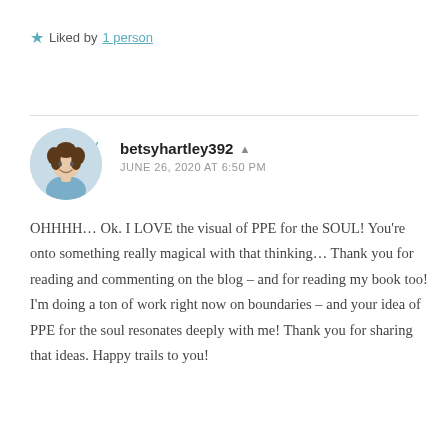★ Liked by 1 person
Reply
betsyhartley392 ▲ JUNE 26, 2020 AT 6:50 PM
OHHHH… Ok. I LOVE the visual of PPE for the SOUL! You're onto something really magical with that thinking… Thank you for reading and commenting on the blog – and for reading my book too! I'm doing a ton of work right now on boundaries – and your idea of PPE for the soul resonates deeply with me! Thank you for sharing that ideas. Happy trails to you!